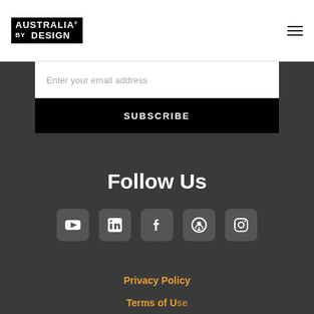[Figure (logo): Australia by Design logo in black box with white text]
[Figure (other): Hamburger menu icon (three horizontal lines)]
Enter your email address
SUBSCRIBE
Follow Us
[Figure (other): Social media icons row: YouTube, LinkedIn, Facebook, Podcast, Instagram]
Privacy Policy
Terms of Use